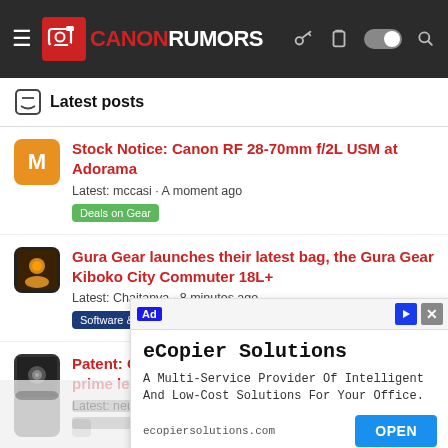CANONRUMORS
Latest posts
Stock Notice: Canon RF 28-70mm f/2L USM at Adorama
Latest: mccasi · A moment ago
Deals on Gear
Gura Gear launches their latest bag, the Gura Gear Kiboko City Commuter 18L+
Latest: Chaitanya · 8 minutes ago
Software & Accessories
Patent: Optical formulas for a trio of wide f/1.8 prime lenses for the RF-S mount
Latest: neuroanatomist · 11 minutes ago
[Figure (screenshot): eCopier Solutions advertisement overlay with OPEN button]